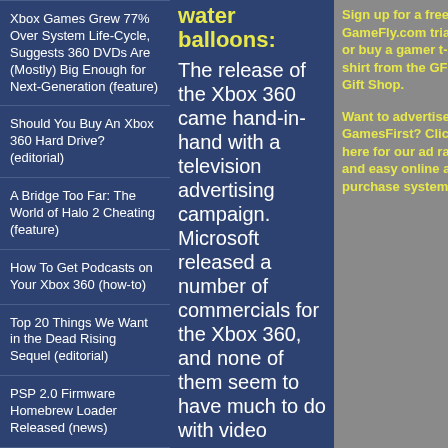Xbox Games Grew 77% Over System Life-Cycle, Suggests 360 DVDs Are (Mostly) Big Enough for Next-Generation (feature)
Should You Buy An Xbox 360 Hard Drive? (editorial)
A Bridge Too Far: The World of Halo 2 Cheating (feature)
How To Get Podcasts on Your Xbox 360 (how-to)
Top 20 Things We Want in the Dead Rising Sequel (editorial)
PSP 2.0 Firmware Homebrew Loader Released (news)
Protesting Booth Babes Kicked Out By E3
water balloons:
The release of the Xbox 360 came hand-in-hand with a television advertising campaign. Microsoft released a number of commercials for the Xbox 360, and none of them seem to have much to do with video
Sign up for a free GameFly.com trial, or buy a gamer t-shirt from the GF! Gift Shop.

Want to advertise on GamesFirst? Click here for our ad rates and easy online ad purchase system.